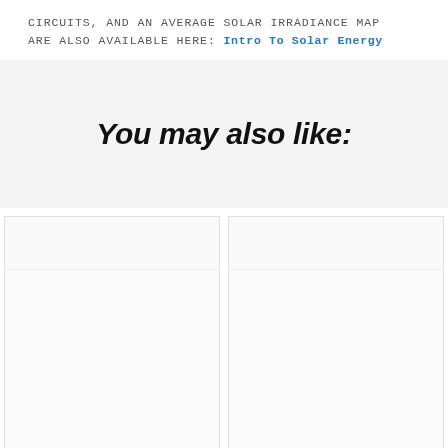CIRCUITS, AND AN AVERAGE SOLAR IRRADIANCE MAP ARE ALSO AVAILABLE HERE: Intro to Solar Energy
You may also like:
[Figure (other): Two content cards side by side, each with a lighter top bar and white body area, representing linked article thumbnails or previews]